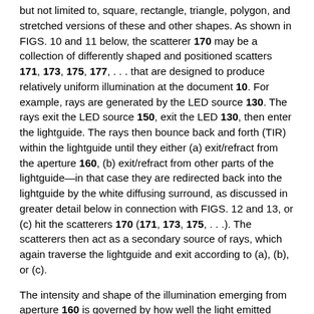but not limited to, square, rectangle, triangle, polygon, and stretched versions of these and other shapes. As shown in FIGS. 10 and 11 below, the scatterer 170 may be a collection of differently shaped and positioned scatters 171, 173, 175, 177, . . . that are designed to produce relatively uniform illumination at the document 10. For example, rays are generated by the LED source 130. The rays exit the LED source 150, exit the LED 130, then enter the lightguide. The rays then bounce back and forth (TIR) within the lightguide until they either (a) exit/refract from the aperture 160, (b) exit/refract from other parts of the lightguide—in that case they are redirected back into the lightguide by the white diffusing surround, as discussed in greater detail below in connection with FIGS. 12 and 13, or (c) hit the scatterers 170 (171, 173, 175, . . .). The scatterers then act as a secondary source of rays, which again traverse the lightguide and exit according to (a), (b), or (c).
The intensity and shape of the illumination emerging from aperture 160 is governed by how well the light emitted from the LED is directed to the aperture. As shown above, light emanating from a light source in a cavity such as shown in